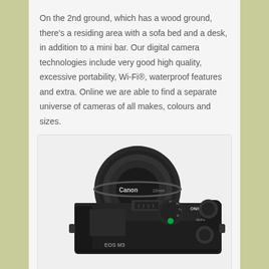On the 2nd ground, which has a wood ground, there's a residing area with a sofa bed and a desk, in addition to a mini bar. Our digital camera technologies include very good high quality, excessive portability, Wi-Fi®, waterproof features and extra. Online we are able to find a separate universe of cameras of all makes, colours and sizes.
[Figure (photo): Top-down view of a black Canon EOS M3 mirrorless camera with a pancake lens attached, showing the ON/OFF switch, mode dial, control dials, hot shoe, and grip.]